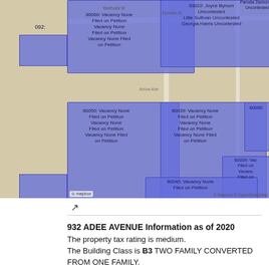[Figure (map): Street map showing blue-shaded regions labeled with parcel numbers and vacancy/petition information. Regions include: 80060 (Vacancy None Filed on Petition, multiple times), 83022 Joyce Bynum Uncontested, Lillie Sullivan Uncontested, Georgia Harris Uncontested, Pamela Damon Uncontested, 80050 (Vacancy None Filed on Petition, multiple times), 80039 (Vacancy None Filed on Petition, multiple times), 80090, 80034, 80040 (Vacancy None Filed on Petition). Map credit: mapbox / Mapbox / OpenStreetMap.]
932 ADEE AVENUE Information as of 2020
The property tax rating is medium.
The Building Class is B3 TWO FAMILY CONVERTED FROM ONE FAMILY.
The Actual Assessed Value Total is $39,300.
The Current Market Value is $655,000.
The Tax Class is 1.
The Current Taxable Total Assessed Value is